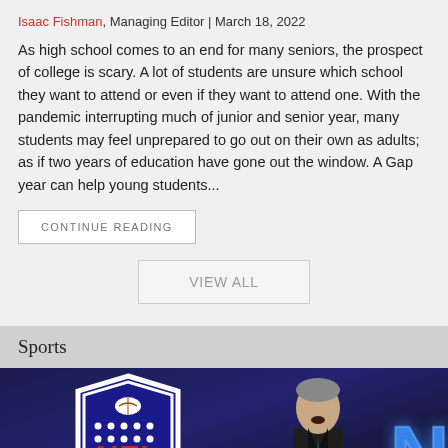Isaac Fishman, Managing Editor | March 18, 2022
As high school comes to an end for many seniors, the prospect of college is scary. A lot of students are unsure which school they want to attend or even if they want to attend one. With the pandemic interrupting much of junior and senior year, many students may feel unprepared to go out on their own as adults; as if two years of education have gone out the window. A Gap year can help young students...
CONTINUE READING
VIEW ALL
Sports
[Figure (photo): NFL logo shield and a man speaking at a podium, with a glowing blue 'N' in the background on a dark blue backdrop]